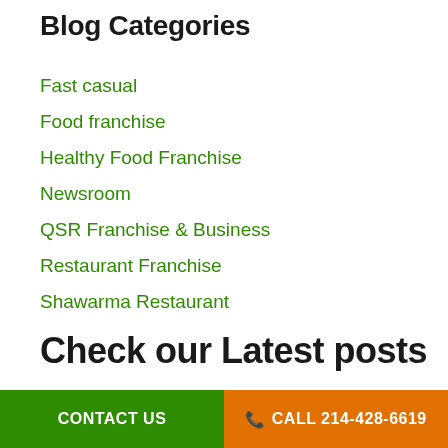Blog Categories
Fast casual
Food franchise
Healthy Food Franchise
Newsroom
QSR Franchise & Business
Restaurant Franchise
Shawarma Restaurant
Check our Latest posts
CONTACT US | CALL 214-428-6619